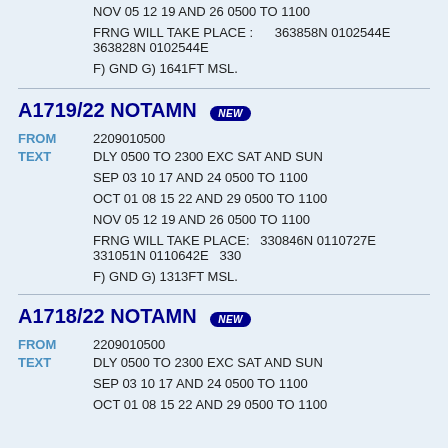NOV 05 12 19 AND 26 0500 TO 1100
FRNG WILL TAKE PLACE :      363858N 0102544E 363828N 0102544E
F) GND G) 1641FT MSL.
A1719/22 NOTAMN NEW
FROM   2209010500
TEXT
DLY 0500 TO 2300 EXC SAT AND SUN
SEP 03 10 17 AND 24 0500 TO 1100
OCT 01 08 15 22 AND 29 0500 TO 1100
NOV 05 12 19 AND 26 0500 TO 1100
FRNG WILL TAKE PLACE:  330846N 0110727E 331051N 0110642E  330
F) GND G) 1313FT MSL.
A1718/22 NOTAMN NEW
FROM   2209010500
TEXT
DLY 0500 TO 2300 EXC SAT AND SUN
SEP 03 10 17 AND 24 0500 TO 1100
OCT 01 08 15 22 AND 29 0500 TO 1100